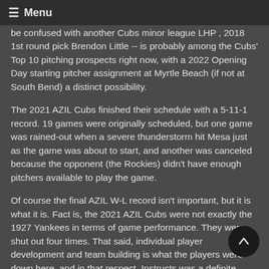≡ Menu
be confused with another Cubs minor league LHP , 2018 1st round pick Brendon Little -- is probably among the Cubs' Top 10 pitching prospects right now, with a 2022 Opening Day starting pitcher assignment at Myrtle Beach (if not at South Bend) a distinct possibility.
The 2021 AZIL Cubs finished their schedule with a 5-11-1 record. 19 games were originally scheduled, but one game was rained-out when a severe thunderstorm hit Mesa just as the game was about to start, and another was canceled because the opponent (the Rockies) didn't have enough pitchers available to play the game.
Of course the final AZIL W-L record isn't important, but it is what it is. Fact is, the 2021 AZIL Cubs were not exactly the 1927 Yankees in terms of game performance. They were shut out four times. That said, individual player development and team building is what the players were down here, and in that respect, Instructs was a definite success.